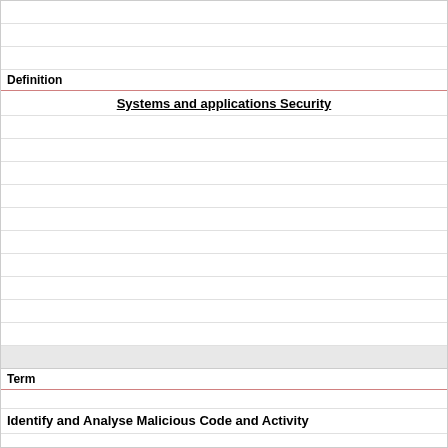Definition
Systems and applications Security
Term
Identify and Analyse Malicious Code and Activity